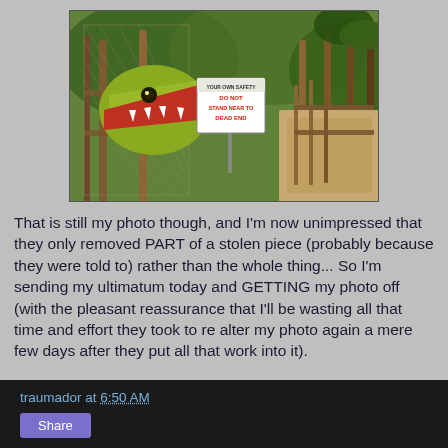[Figure (photo): Photo of a dinosaur animatronic or statue behind a chain-link fence on a walkway path, with a warning sign in the center reading about visitor safety, surrounded by green vegetation.]
That is still my photo though, and I'm now unimpressed that they only removed PART of a stolen piece (probably because they were told to) rather than the whole thing... So I'm sending my ultimatum today and GETTING my photo off (with the pleasant reassurance that I'll be wasting all that time and effort they took to re alter my photo again a mere few days after they put all that work into it).
traumador at 6:50 AM  Share